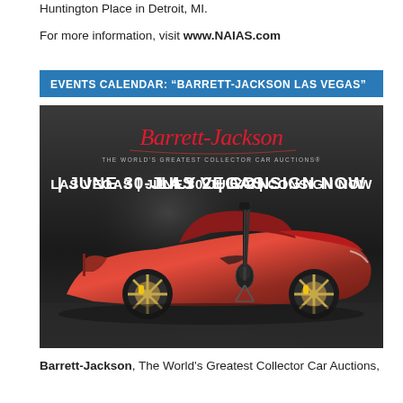Huntington Place in Detroit, MI.
For more information, visit www.NAIAS.com
EVENTS CALENDAR: "BARRETT-JACKSON LAS VEGAS"
[Figure (photo): Barrett-Jackson Las Vegas promotional advertisement featuring a red Corvette sports car with a guitar leaning against it. Text reads: Barrett-Jackson – The World's Greatest Collector Car Auctions. Las Vegas | June 30-July 2 | Consign Now]
Barrett-Jackson, The World's Greatest Collector Car Auctions,